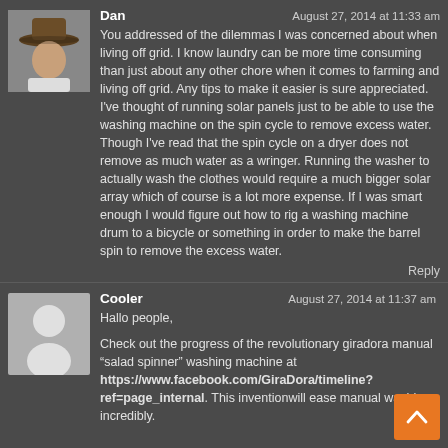[Figure (photo): Avatar photo of Dan, a man wearing a wide-brimmed hat, gray background]
Dan
August 27, 2014 at 11:33 am
You addressed of the dilemmas I was concerned about when living off grid. I know laundry can be more time consuming than just about any other chore when it comes to farming and living off grid. Any tips to make it easier is sure appreciated. I've thought of running solar panels just to be able to use the washing machine on the spin cycle to remove excess water. Though I've read that the spin cycle on a dryer does not remove as much water as a wringer. Running the washer to actually wash the clothes would require a much bigger solar array which of course is a lot more expense. If I was smart enough I would figure out how to rig a washing machine drum to a bicycle or something in order to make the barrel spin to remove the excess water.
Reply
[Figure (illustration): Generic avatar silhouette icon on light gray background]
Cooler
August 27, 2014 at 11:37 am
Hallo people,

Check out the progress of the revolutionary giradora manual “salad spinner” washing machine at https://www.facebook.com/GiraDora/timeline?ref=page_internal. This inventionwill ease manual washing incredibly.